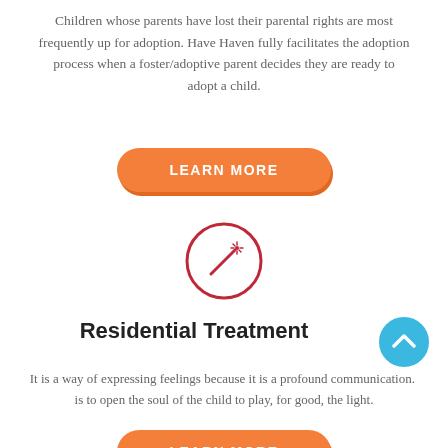Children whose parents have lost their parental rights are most frequently up for adoption. Have Haven fully facilitates the adoption process when a foster/adoptive parent decides they are ready to adopt a child.
[Figure (illustration): Orange rounded rectangle button with white uppercase text 'LEARN MORE']
[Figure (illustration): Red circle outline icon containing a magic wand with sparkles]
Residential Treatment
[Figure (illustration): Blue circle with upward-pointing chevron arrow (scroll to top button)]
It is a way of expressing feelings because it is a profound communication.  is to open the soul of the child to play, for good, the light.
[Figure (illustration): Orange rounded rectangle button partially visible at bottom of page]